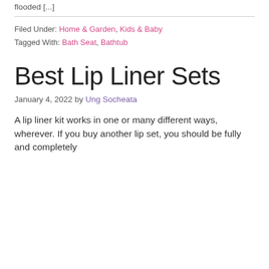flooded [...]
Filed Under: Home & Garden, Kids & Baby
Tagged With: Bath Seat, Bathtub
Best Lip Liner Sets
January 4, 2022 by Ung Socheata
A lip liner kit works in one or many different ways, wherever. If you buy another lip set, you should be fully and completely informed about it in the same ways as t…